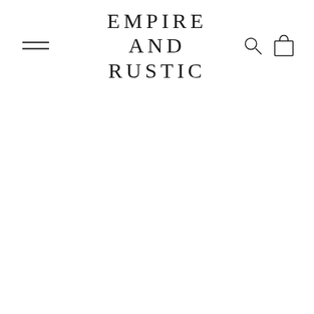EMPIRE AND RUSTIC
[Figure (logo): Empire and Rustic brand logo with hamburger menu icon on left and search/cart icons on right]